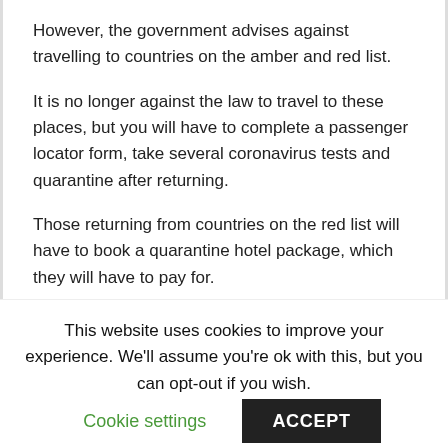However, the government advises against travelling to countries on the amber and red list.
It is no longer against the law to travel to these places, but you will have to complete a passenger locator form, take several coronavirus tests and quarantine after returning.
Those returning from countries on the red list will have to book a quarantine hotel package, which they will have to pay for.
Here is a full list of everything you can and can't do
This website uses cookies to improve your experience. We'll assume you're ok with this, but you can opt-out if you wish.
Cookie settings
ACCEPT